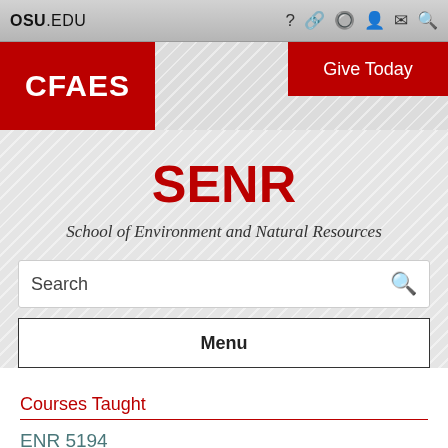OSU.EDU
[Figure (logo): CFAES red logo block on left, Give Today red button on right, diagonal striped banner background]
SENR
School of Environment and Natural Resources
Search
Menu
Courses Taught
ENR 5194
ENR 5400
ENR 8890.06